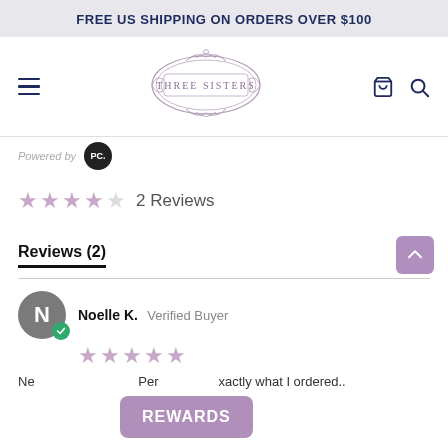FREE US SHIPPING ON ORDERS OVER $100
[Figure (logo): Three Sisters decorative ornamental logo with floral border]
Powered by [PC logo]
★★★★☆ 2 Reviews
Reviews (2)
Noelle K. Verified Buyer ★★★★★
Ne... Per... xactly what I ordered..
REWARDS